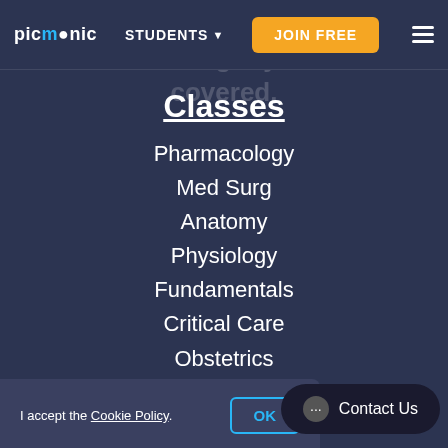picmonic  STUDENTS ▼  JOIN FREE  ≡
NCLEX® and beyond: we've got you covered.
Classes
Pharmacology
Med Surg
Anatomy
Physiology
Fundamentals
Critical Care
Obstetrics
Psychiatric
Pediatric
Microbiology
I accept the Cookie Policy.
OK
Contact Us